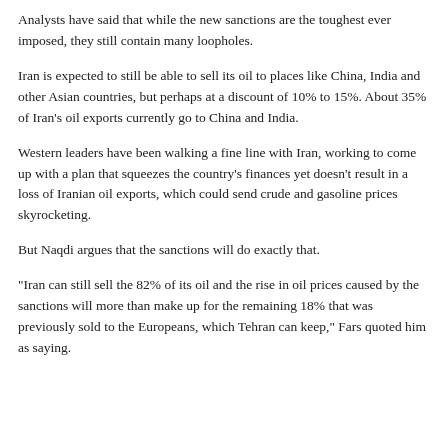Analysts have said that while the new sanctions are the toughest ever imposed, they still contain many loopholes.
Iran is expected to still be able to sell its oil to places like China, India and other Asian countries, but perhaps at a discount of 10% to 15%. About 35% of Iran's oil exports currently go to China and India.
Western leaders have been walking a fine line with Iran, working to come up with a plan that squeezes the country's finances yet doesn't result in a loss of Iranian oil exports, which could send crude and gasoline prices skyrocketing.
But Naqdi argues that the sanctions will do exactly that.
"Iran can still sell the 82% of its oil and the rise in oil prices caused by the sanctions will more than make up for the remaining 18% that was previously sold to the Europeans, which Tehran can keep," Fars quoted him as saying.